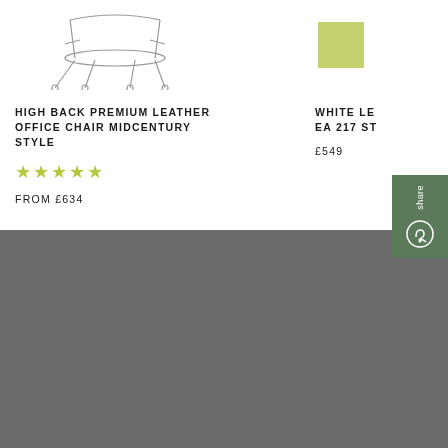[Figure (photo): Partial view of a high back premium leather office chair product image (chair legs/base visible)]
[Figure (photo): Partial view of White Leather EA 217 Style chair product image with green color swatch]
HIGH BACK PREMIUM LEATHER OFFICE CHAIR MIDCENTURY STYLE
★★★★★
FROM £634
WHITE LE... EA 217 ST...
£549
HELP & QUESTIONS
Contact
FAQs
Delivery
Returns